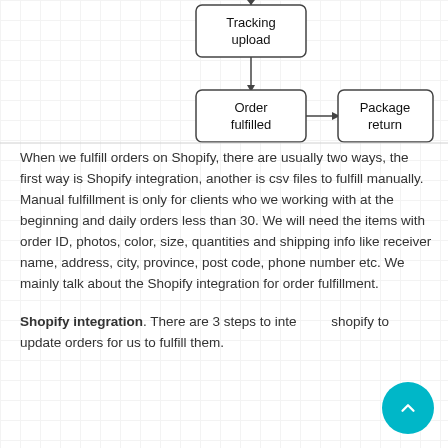[Figure (flowchart): Partial flowchart showing: 'Tracking upload' box with arrow down to 'Order fulfilled' box, which has arrow right to 'Package return' box. Arrow from above enters Tracking upload.]
When we fulfill orders on Shopify, there are usually two ways, the first way is Shopify integration, another is csv files to fulfill manually. Manual fulfillment is only for clients who we working with at the beginning and daily orders less than 30. We will need the items with order ID, photos, color, size, quantities and shipping info like receiver name, address, city, province, post code, phone number etc. We mainly talk about the Shopify integration for order fulfillment.
Shopify integration. There are 3 steps to integrate shopify to update orders for us to fulfill them.